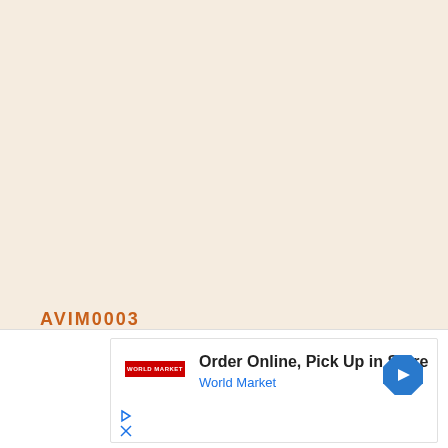[Figure (other): Blank cream/beige page background, likely a scanned blank page or placeholder]
AVIM0003
[Figure (other): Advertisement banner: Order Online, Pick Up in Store - World Market, with navigation arrow icon and red logo]